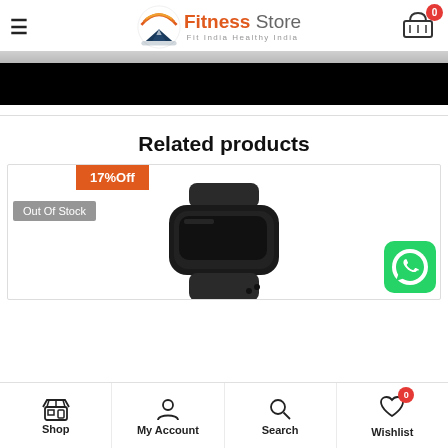Fitness Store — Fit India Healthy India
[Figure (screenshot): Dark banner / hero image area — gray strip and black rectangle]
Related products
[Figure (photo): Fitness tracker / smart band product image with '17%Off' badge and 'Out Of Stock' label]
[Figure (logo): WhatsApp green chat button icon]
Shop | My Account | Search | Wishlist